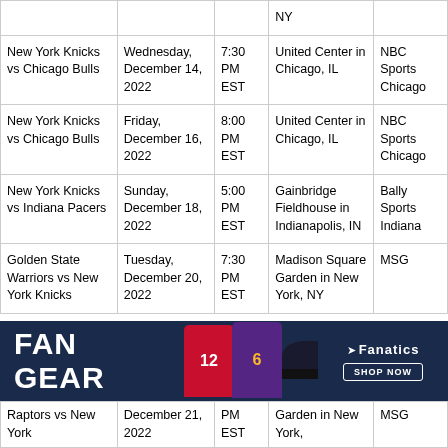| Game | Date | Time | Venue | TV |
| --- | --- | --- | --- | --- |
| New York Knicks vs Chicago Bulls | Wednesday, December 14, 2022 | 7:30 PM EST | United Center in Chicago, IL | NBC Sports Chicago |
| New York Knicks vs Chicago Bulls | Friday, December 16, 2022 | 8:00 PM EST | United Center in Chicago, IL | NBC Sports Chicago |
| New York Knicks vs Indiana Pacers | Sunday, December 18, 2022 | 5:00 PM EST | Gainbridge Fieldhouse in Indianapolis, IN | Bally Sports Indiana |
| Golden State Warriors vs New York Knicks | Tuesday, December 20, 2022 | 7:30 PM EST | Madison Square Garden in New York, NY | MSG |
| Raptors vs New York ... | December 21, 2022 | PM EST | Garden in New York, | MSG |
[Figure (infographic): FAN GEAR advertisement banner with Fanatics logo, sports jerseys and hat images, and SHOP NOW button]